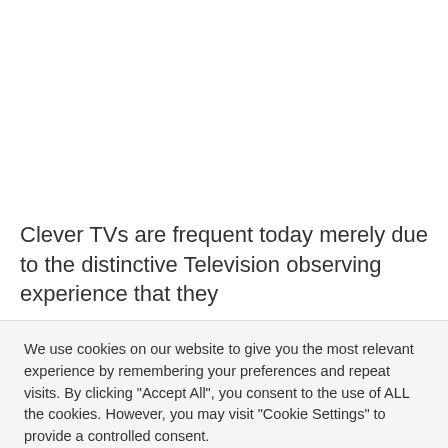Clever TVs are frequent today merely due to the distinctive Television observing experience that they
We use cookies on our website to give you the most relevant experience by remembering your preferences and repeat visits. By clicking "Accept All", you consent to the use of ALL the cookies. However, you may visit "Cookie Settings" to provide a controlled consent.